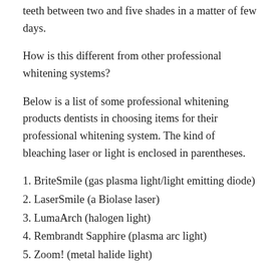teeth between two and five shades in a matter of few days.
How is this different from other professional whitening systems?
Below is a list of some professional whitening products dentists in choosing items for their professional whitening system. The kind of bleaching laser or light is enclosed in parentheses.
1. BriteSmile (gas plasma light/light emitting diode)
2. LaserSmile (a Biolase laser)
3. LumaArch (halogen light)
4. Rembrandt Sapphire (plasma arc light)
5. Zoom! (metal halide light)